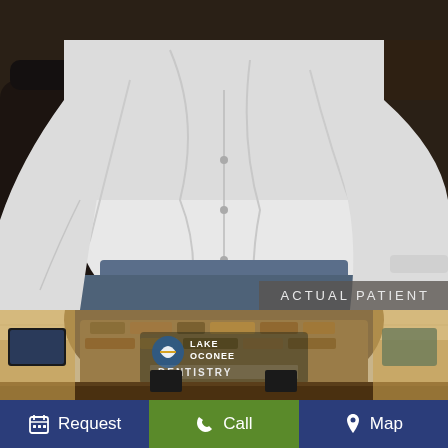[Figure (photo): Person in white button-down shirt seated in dental chair, torso/body visible, face cropped out. Dark dental chair visible on left. Dark background.]
ACTUAL PATIENT
[Figure (photo): Interior of Lake Oconee Dentistry office reception area with stone accent wall, logo sign reading 'Lake Oconee Dentistry - Advanced & Comfortable', reception desk with computers, warm lighting.]
Request
Call
Map